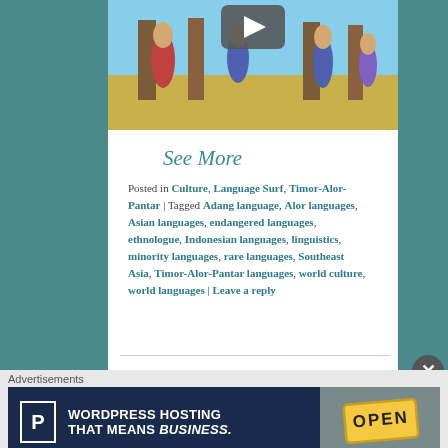[Figure (photo): Illustration of indigenous people with a play button overlay, suggesting a video thumbnail. Sky and ground visible with figures standing.]
See More
Posted in Culture, Language Surf, Timor-Alor-Pantar | Tagged Adang language, Alor languages, Asian languages, endangered languages, ethnologue, Indonesian languages, linguistics, minority languages, rare languages, Southeast Asia, Timor-Alor-Pantar languages, world culture, world languages | Leave a reply
Advertisements
[Figure (screenshot): WordPress Hosting advertisement banner with P logo, text 'WORDPRESS HOSTING THAT MEANS BUSINESS.' and an OPEN sign image on the right.]